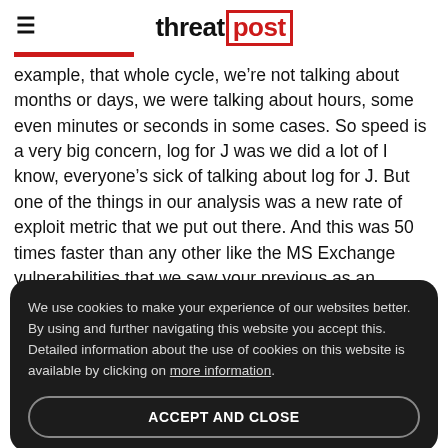threatpost
example, that whole cycle, we’re not talking about months or days, we were talking about hours, some even minutes or seconds in some cases. So speed is a very big concern, log for J was we did a lot of I know, everyone’s sick of talking about log for J. But one of the things in our analysis was a new rate of exploit metric that we put out there. And this was 50 times faster than any other like the MS Exchange vulnerabilities that we saw your previous as an example.
We use cookies to make your experience of our websites better. By using and further navigating this website you accept this. Detailed information about the use of cookies on this website is available by clicking on more information.
ACCEPT AND CLOSE
years ago. Yeah, yeah.